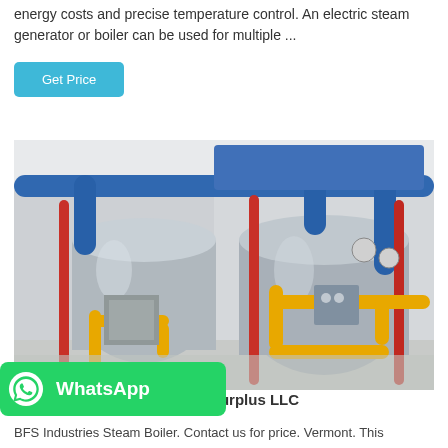energy costs and precise temperature control. An electric steam generator or boiler can be used for multiple ...
Get Price
[Figure (photo): Industrial boiler room with two large cylindrical steam boilers wrapped in blue insulated pipes, yellow gas pipes, and red pipes. Stainless steel components visible in a clean facility.]
WhatsApp
Steam Boiler for Sale at C3 Surplus LLC
BFS Industries Steam Boiler. Contact us for price. Vermont. This